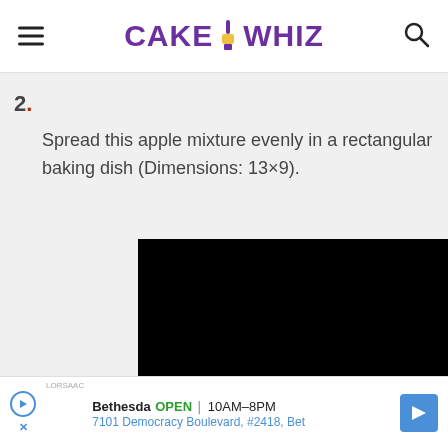CAKE WHIZ
2. Spread this apple mixture evenly in a rectangular baking dish (Dimensions: 13×9).
[Figure (photo): Black rectangle representing a photo/video of the dish]
Bethesda OPEN 10AM–8PM 7101 Democracy Boulevard, #2418, Bet